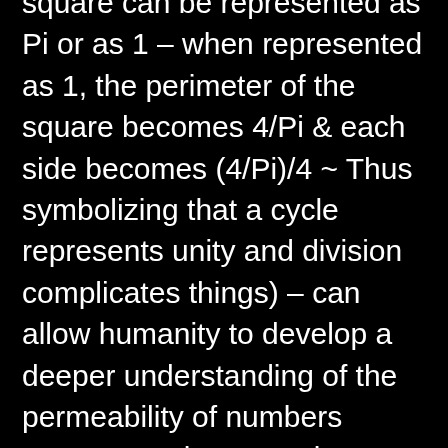square can be represented as Pi or as 1 – when represented as 1, the perimeter of the square becomes 4/Pi & each side becomes (4/Pi)/4 ~ Thus symbolizing that a cycle represents unity and division complicates things) – can allow humanity to develop a deeper understanding of the permeability of numbers systems and perspectives, as well as their